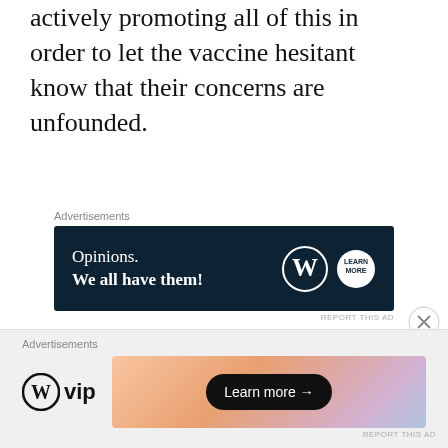actively promoting all of this in order to let the vaccine hesitant know that their concerns are unfounded.
[Figure (other): Advertisement banner with dark navy background showing 'Opinions. We all have them!' with WordPress and secondary logo. Labeled 'Advertisements' above and 'REPORT THIS AD' below.]
One thing that has been badly done during this pandemic is the dissemination of information. In any crisis, the first thing to do, should be to have clear, consistent, factually accurate communication. This has been sorely lacking in
[Figure (other): Advertisement banner at bottom showing WordPress VIP logo on left and a colorful gradient banner with 'Learn more →' button on right. Labeled 'Advertisements' above and 'REPORT THIS AD' below.]